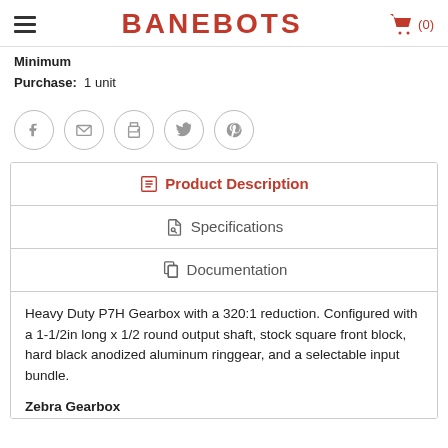BANEBOTS
Minimum Purchase: 1 unit
[Figure (other): Social sharing icons: Facebook, Email, Print, Twitter, Pinterest]
Product Description
Specifications
Documentation
Heavy Duty P7H Gearbox with a 320:1 reduction. Configured with a 1-1/2in long x 1/2 round output shaft, stock square front block, hard black anodized aluminum ringgear, and a selectable input bundle.
Zebra Gearbox